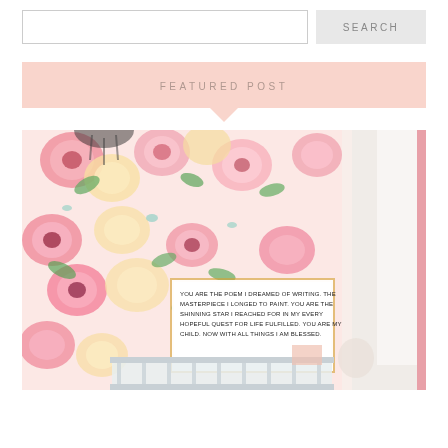SEARCH
FEATURED POST
[Figure (photo): A nursery room with large pink floral wallpaper and a white framed sign reading 'YOU ARE THE POEM I DREAMED OF WRITING. THE MASTERPIECE I LONGED TO PAINT. YOU ARE THE SHINNING STAR I REACHED FOR IN MY EVERY HOPEFUL QUEST FOR LIFE FULFILLED. YOU ARE MY CHILD. NOW WITH ALL THINGS I AM BLESSED.' A white crib is partially visible at the bottom.]